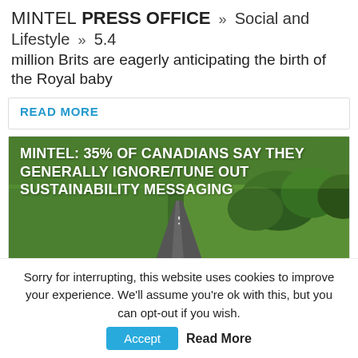MINTEL PRESS OFFICE » Social and Lifestyle » 5.4 million Brits are eagerly anticipating the birth of the Royal baby
READ MORE
[Figure (photo): Aerial view of a road through green fields and trees with white bold text overlay reading: MINTEL: 35% OF CANADIANS SAY THEY GENERALLY IGNORE/TUNE OUT SUSTAINABILITY MESSAGING]
As Canadians gear up to celebrate Earth Day (April 22), new research from Mintel reveals that consumers struggle with what 'sustainability' actually means and what actions are truly ...
Sorry for interrupting, this website uses cookies to improve your experience. We'll assume you're ok with this, but you can opt-out if you wish. Accept Read More